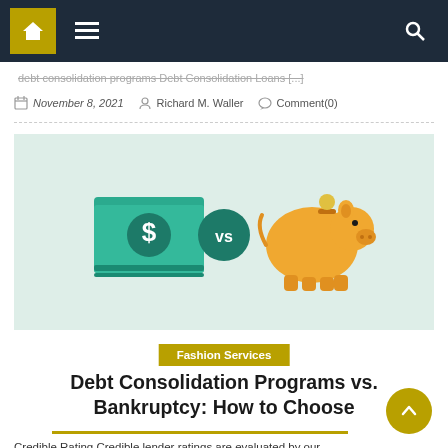Navigation bar with home, menu, and search icons
debt consolidation programs Debt Consolidation Loans [...]
November 8, 2021  Richard M. Waller  Comment(0)
[Figure (illustration): Illustration on light-green background: a stack of dollar bills with a green circle $ icon on the left, a dark-green circle with 'vs' in the center, and a golden piggy bank on the right]
Fashion Services
Debt Consolidation Programs vs. Bankruptcy: How to Choose
Credible Rating Credible lender ratings are evaluated by our